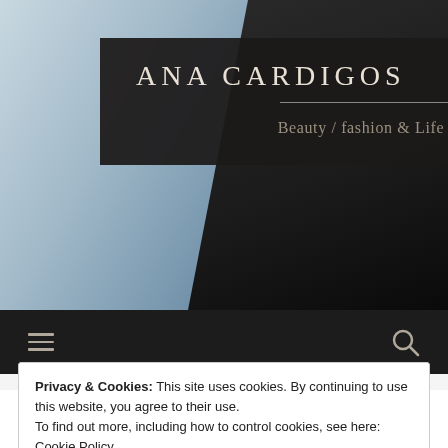[Figure (photo): Website header hero image showing a woman applying makeup, with a dark overlay on the right side and a logo box overlaid on top]
ANA CARDIGOS
Beauty / fashion & Life style
Navigation bar with hamburger menu icon and search icon
Privacy & Cookies: This site uses cookies. By continuing to use this website, you agree to their use.
To find out more, including how to control cookies, see here: Cookie Policy
Close and accept
Highlighter Tips for